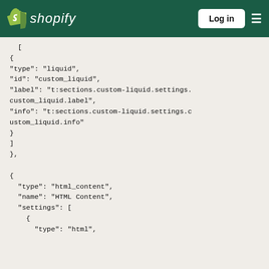Shopify — Log in navigation bar
{
"type": "liquid",
"id": "custom_liquid",
"label": "t:sections.custom-liquid.settings.custom_liquid.label",
"info": "t:sections.custom-liquid.settings.custom_liquid.info"
}
]
},

{
  "type": "html_content",
  "name": "HTML Content",
  "settings": [
    {
      "type": "html",